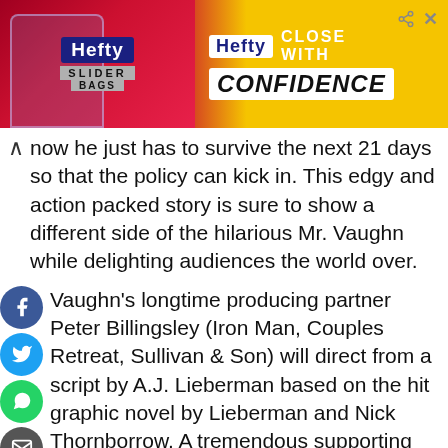[Figure (illustration): Hefty Slider Bags advertisement banner with red and yellow background. Shows Hefty logo on left with 'SLIDER BAGS' text, and 'Hefty CLOSE WITH CONFIDENCE' text on right in white and black.]
now he just has to survive the next 21 days so that the policy can kick in. This edgy and action packed story is sure to show a different side of the hilarious Mr. Vaughn while delighting audiences the world over.
Vaughn's longtime producing partner Peter Billingsley (Iron Man, Couples Retreat, Sullivan & Son) will direct from a script by A.J. Lieberman based on the hit graphic novel by Lieberman and Nick Thornborrow. A tremendous supporting cast has been assembled to work alongside Mr. Vaughn that includes the talents of Academy Award nominee Hailee Steinfeld (True Grit, Ender's Game, Can a Song Save Your Life?) playing Carrie Barrow along with two-time Emmy Award nominee Jonathan Banks (Breaking Bad, Beverly Hills Cop, Community). Andi Mulli...